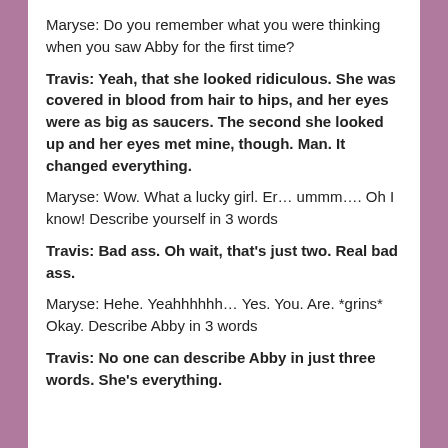Maryse: Do you remember what you were thinking when you saw Abby for the first time?
Travis: Yeah, that she looked ridiculous. She was covered in blood from hair to hips, and her eyes were as big as saucers. The second she looked up and her eyes met mine, though. Man. It changed everything.
Maryse: Wow. What a lucky girl. Er… ummm…. Oh I know! Describe yourself in 3 words
Travis: Bad ass. Oh wait, that's just two. Real bad ass.
Maryse: Hehe. Yeahhhhhh… Yes. You. Are. *grins* Okay. Describe Abby in 3 words
Travis: No one can describe Abby in just three words. She's everything.